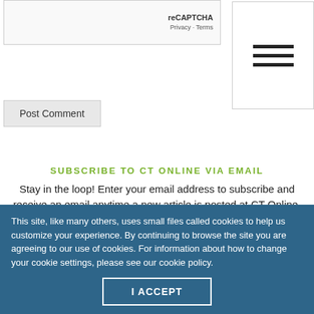[Figure (screenshot): reCAPTCHA widget box showing 'reCAPTCHA' branding with 'Privacy · Terms' links]
[Figure (screenshot): Hamburger menu icon with three horizontal lines]
Post Comment
SUBSCRIBE TO CT ONLINE VIA EMAIL
Stay in the loop! Enter your email address to subscribe and receive an email anytime a new article is posted at CT Online.
Email Address
This site, like many others, uses small files called cookies to help us customize your experience. By continuing to browse the site you are agreeing to our use of cookies. For information about how to change your cookie settings, please see our cookie policy.
I ACCEPT